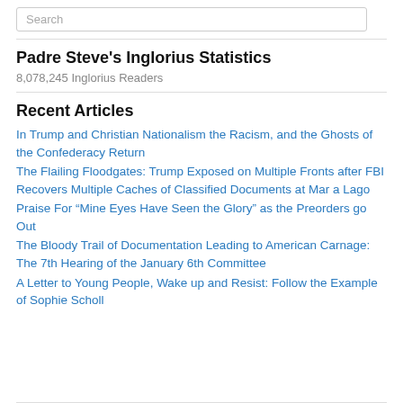Search
Padre Steve's Inglorius Statistics
8,078,245 Inglorius Readers
Recent Articles
In Trump and Christian Nationalism the Racism, and the Ghosts of the Confederacy Return
The Flailing Floodgates: Trump Exposed on Multiple Fronts after FBI Recovers Multiple Caches of Classified Documents at Mar a Lago
Praise For “Mine Eyes Have Seen the Glory” as the Preorders go Out
The Bloody Trail of Documentation Leading to American Carnage: The 7th Hearing of the January 6th Committee
A Letter to Young People, Wake up and Resist: Follow the Example of Sophie Scholl